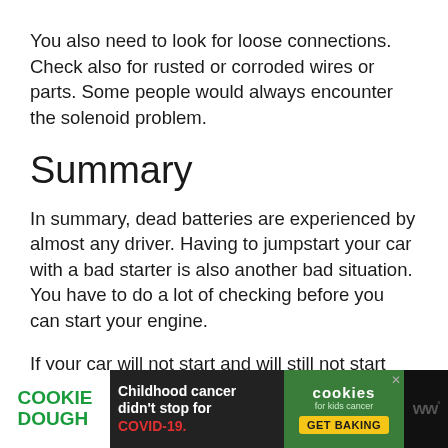You also need to look for loose connections. Check also for rusted or corroded wires or parts. Some people would always encounter the solenoid problem.
Summary
In summary, dead batteries are experienced by almost any driver. Having to jumpstart your car with a bad starter is also another bad situation. You have to do a lot of checking before you can start your engine.
If your car will not start and will still not start even after performing the jump start, you
[Figure (infographic): Advertisement banner for Cookie Dough / cookies for kids cancer. Dark background with Cookie Dough logo on left in green, middle text 'Childhood cancer didn't stop for COVID-19.' and right side green box with cookies logo and 'GET BAKING' button. WW logo on far right.]